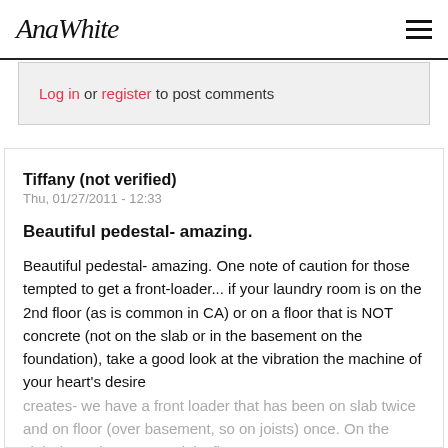AnaWhite
Log in or register to post comments
Tiffany (not verified)
Thu, 01/27/2011 - 12:33
Beautiful pedestal- amazing.
Beautiful pedestal- amazing. One note of caution for those tempted to get a front-loader... if your laundry room is on the 2nd floor (as is common in CA) or on a floor that is NOT concrete (not on the slab or in the basement on the foundation), take a good look at the vibration the machine of your heart's desire creates- we have a front loader that has been on slab twice and on floor (over basement, so on joists) once. On the slab- it's a dream. On a joist floor- a